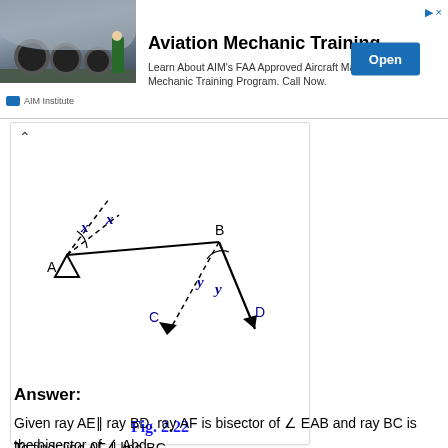[Figure (other): Advertisement banner for AIM Institute Aviation Mechanic Training with photo of aircraft landing gear, text about FAA Approved Aircraft Maintenance & Mechanic Training Program, and an Open button]
[Figure (engineering-diagram): Geometric diagram Fig. 2.22 showing points A and B connected by a horizontal line, with angle x bisected at A (two dashed lines making equal angles x), and angle y bisected at B (two lines making equal angles y), with rays going to points C and D. Triangle symbol at A indicating a support.]
Fig. 2.22
Answer:
Given ray AE‖ ray BD. ray AF is bisector of ∠ EAB and ray BC is the bisector of ∠ Abd.
To find: line AF ‖ line BC